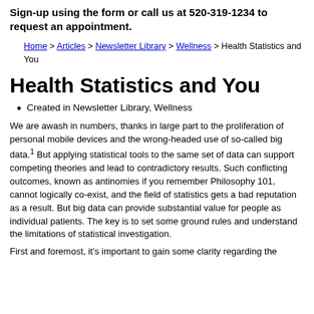Sign-up using the form or call us at 520-319-1234 to request an appointment.
Home > Articles > Newsletter Library > Wellness > Health Statistics and You
Health Statistics and You
Created in Newsletter Library, Wellness
We are awash in numbers, thanks in large part to the proliferation of personal mobile devices and the wrong-headed use of so-called big data.1 But applying statistical tools to the same set of data can support competing theories and lead to contradictory results. Such conflicting outcomes, known as antinomies if you remember Philosophy 101, cannot logically co-exist, and the field of statistics gets a bad reputation as a result. But big data can provide substantial value for people as individual patients. The key is to set some ground rules and understand the limitations of statistical investigation.
First and foremost, it's important to gain some clarity regarding the